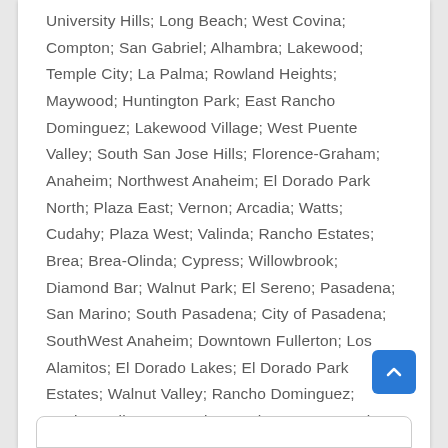University Hills; Long Beach; West Covina; Compton; San Gabriel; Alhambra; Lakewood; Temple City; La Palma; Rowland Heights; Maywood; Huntington Park; East Rancho Dominguez; Lakewood Village; West Puente Valley; South San Jose Hills; Florence-Graham; Anaheim; Northwest Anaheim; El Dorado Park North; Plaza East; Vernon; Arcadia; Watts; Cudahy; Plaza West; Valinda; Rancho Estates; Brea; Brea-Olinda; Cypress; Willowbrook; Diamond Bar; Walnut Park; El Sereno; Pasadena; San Marino; South Pasadena; City of Pasadena; SouthWest Anaheim; Downtown Fullerton; Los Alamitos; El Dorado Lakes; El Dorado Park Estates; Walnut Valley; Rancho Dominguez; Covina-Valley; Monrovia; Southeast Los Angeles; Highland Park; Walnut; Placentia; Vernon/Main.